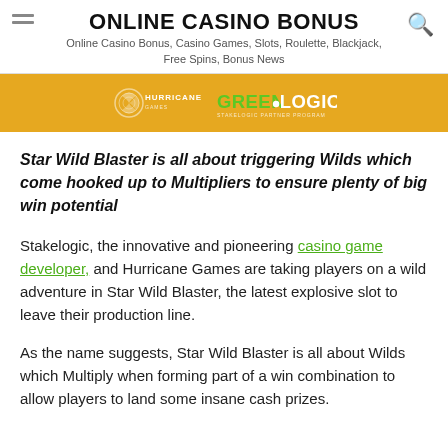ONLINE CASINO BONUS
Online Casino Bonus, Casino Games, Slots, Roulette, Blackjack, Free Spins, Bonus News
[Figure (logo): Hurricane Games and GreenLogic Stakelogic Partner Program banner on gold/orange background]
Star Wild Blaster is all about triggering Wilds which come hooked up to Multipliers to ensure plenty of big win potential
Stakelogic, the innovative and pioneering casino game developer, and Hurricane Games are taking players on a wild adventure in Star Wild Blaster, the latest explosive slot to leave their production line.
As the name suggests, Star Wild Blaster is all about Wilds which Multiply when forming part of a win combination to allow players to land some insane cash prizes.